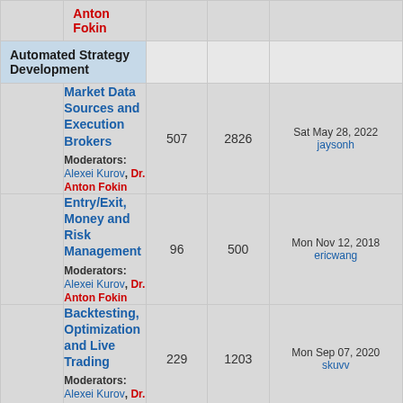|  | Forum | Topics | Posts | Last Post |
| --- | --- | --- | --- | --- |
|  | Anton Fokin |  |  |  |
| Automated Strategy Development |  |  |  |  |
|  | Market Data Sources and Execution Brokers
Moderators: Alexei Kurov, Dr. Anton Fokin | 507 | 2826 | Sat May 28, 2022
jaysonh |
|  | Entry/Exit, Money and Risk Management
Moderators: Alexei Kurov, Dr. Anton Fokin | 96 | 500 | Mon Nov 12, 2018
ericwang |
|  | Backtesting, Optimization and Live Trading
Moderators: Alexei Kurov, Dr. Anton Fokin | 229 | 1203 | Mon Sep 07, 2020
skuvv |
|  | Books, Articles and References
Moderators: Alexei Kurov, Dr. Anton Fokin | 11 | 26 | Tue Sep 22, 2020
jeanpeyre |
|  | Strategy Programming (.NET, C# and other Languages)
Moderators: Alexei Kurov, Dr. Anton Fokin | 461 | 2002 | Fri Dec 06, 2019
mikembb |
|  | Trading Strategies
Discuss OpenQuant trading strategies in this forum, upload |  |  |  |